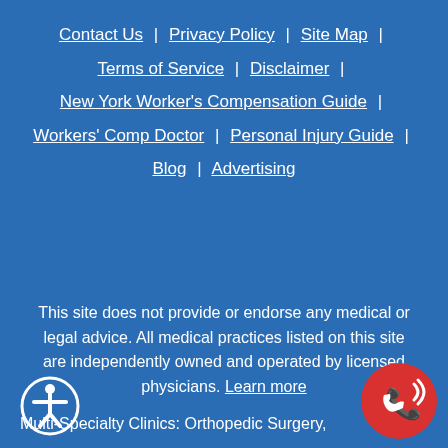Contact Us | Privacy Policy | Site Map |
Terms of Service | Disclaimer |
New York Worker's Compensation Guide |
Workers' Comp Doctor | Personal Injury Guide |
Blog | Advertising
This site does not provide or endorse any medical or legal advice. All medical practices listed on this site are independently owned and operated by licensed physicians. Learn more
Multi-Specialty Clinics: Orthopedic Surgery,